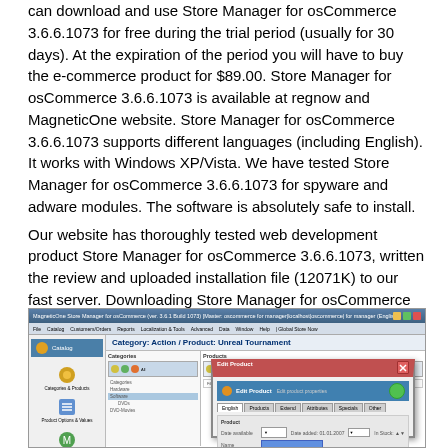can download and use Store Manager for osCommerce 3.6.6.1073 for free during the trial period (usually for 30 days). At the expiration of the period you will have to buy the e-commerce product for $89.00. Store Manager for osCommerce 3.6.6.1073 is available at regnow and MagneticOne website. Store Manager for osCommerce 3.6.6.1073 supports different languages (including English). It works with Windows XP/Vista. We have tested Store Manager for osCommerce 3.6.6.1073 for spyware and adware modules. The software is absolutely safe to install.
Our website has thoroughly tested web development product Store Manager for osCommerce 3.6.6.1073, written the review and uploaded installation file (12071K) to our fast server. Downloading Store Manager for osCommerce 3.6.6.1073 will take several minutes if you use fast ADSL connection.
[Figure (screenshot): Screenshot of MagneticOne Store Manager for osCommerce application showing Category: Action / Product: Unreal Tournament with an Edit Product dialog open displaying product properties fields.]